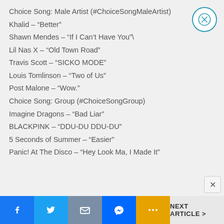Choice Song: Male Artist (#ChoiceSongMaleArtist)
Khalid – “Better”
Shawn Mendes – “If I Can’t Have You”\
Lil Nas X – “Old Town Road”
Travis Scott – “SICKO MODE”
Louis Tomlinson – “Two of Us”
Post Malone – “Wow.”
Choice Song: Group (#ChoiceSongGroup)
Imagine Dragons – “Bad Liar”
BLACKPINK – “DDU-DU DDU-DU”
5 Seconds of Summer – “Easier”
Panic! At The Disco – “Hey Look Ma, I Made It”
Facebook | Twitter | Mail | Messenger | More | NEXT ARTICLE >